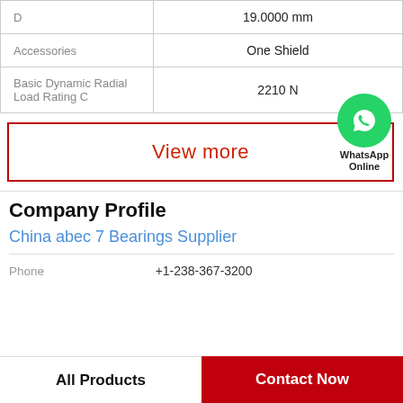| Property | Value |
| --- | --- |
| D | 19.0000 mm |
| Accessories | One Shield |
| Basic Dynamic Radial Load Rating C | 2210 N |
View more
[Figure (logo): WhatsApp Online green phone icon with text WhatsApp Online]
Company Profile
China abec 7 Bearings Supplier
Phone   +1-238-367-3200
All Products
Contact Now